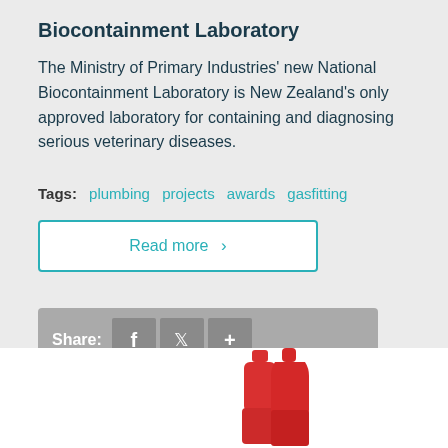Biocontainment Laboratory
The Ministry of Primary Industries' new National Biocontainment Laboratory is New Zealand's only approved laboratory for containing and diagnosing serious veterinary diseases.
Tags: plumbing projects awards gasfitting
Read more >
Share:
[Figure (photo): Two red spray/liquid bottles partially visible at the bottom of the page]